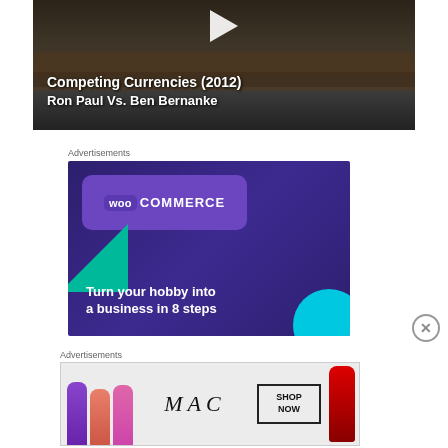[Figure (screenshot): Video thumbnail showing a congressional hearing room with text overlay 'Competing Currencies (2012) Ron Paul Vs. Ben Bernanke' on dark background with a play button]
Advertisements
[Figure (screenshot): WooCommerce advertisement with dark purple background, WooCommerce logo, teal triangle shape, cyan circle, text 'Turn your hobby into a business in 8 steps']
Advertisements
[Figure (screenshot): MAC Cosmetics advertisement showing lipsticks in purple, pink, coral colors, MAC logo in italic script, and a SHOP NOW button box]